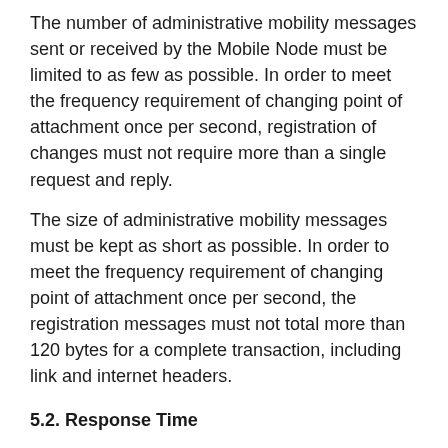The number of administrative mobility messages sent or received by the Mobile Node must be limited to as few as possible. In order to meet the frequency requirement of changing point of attachment once per second, registration of changes must not require more than a single request and reply.
The size of administrative mobility messages must be kept as short as possible. In order to meet the frequency requirement of changing point of attachment once per second, the registration messages must not total more than 120 bytes for a complete transaction, including link and internet headers.
5.2. Response Time
For most mobile links in current use, the typical TCP/IPv4 datagram overhead of 40 bytes is too large to maintain an acceptable typing response of 200 milliseconds round trip time.
Therefore, the criteria for IPng mobility is that the response